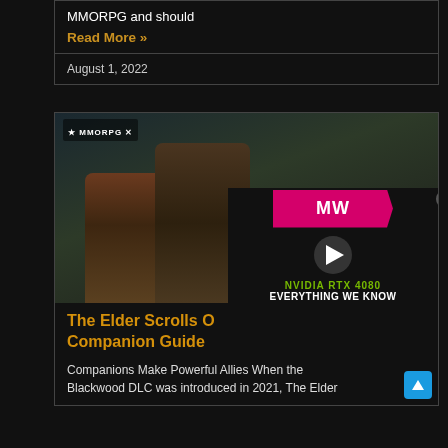MMORPG and should
Read More »
August 1, 2022
[Figure (screenshot): Game screenshot showing two armored fantasy characters in a dark forest setting, with an MW (Meest World) advertisement overlay showing an NVIDIA RTX 4080 promotional video. A close button (X) is visible in the upper right of the overlay.]
The Elder Scrolls O Companion Guide
Companions Make Powerful Allies When the Blackwood DLC was introduced in 2021, The Elder